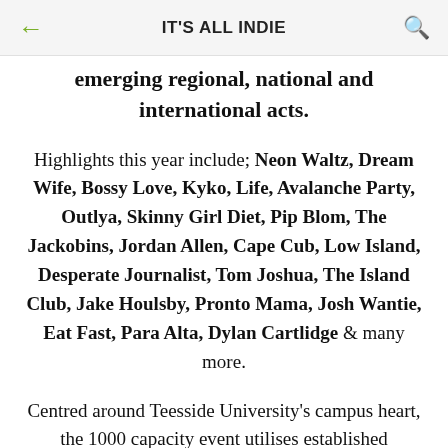IT'S ALL INDIE
emerging regional, national and international acts.
Highlights this year include; Neon Waltz, Dream Wife, Bossy Love, Kyko, Life, Avalanche Party, Outlya, Skinny Girl Diet, Pip Blom, The Jackobins, Jordan Allen, Cape Cub, Low Island, Desperate Journalist, Tom Joshua, The Island Club, Jake Houlsby, Pronto Mama, Josh Wantie, Eat Fast, Para Alta, Dylan Cartlidge & many more.
Centred around Teesside University's campus heart, the 1000 capacity event utilises established